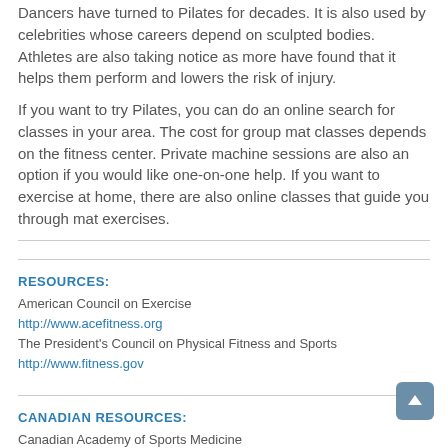Dancers have turned to Pilates for decades. It is also used by celebrities whose careers depend on sculpted bodies. Athletes are also taking notice as more have found that it helps them perform and lowers the risk of injury.
If you want to try Pilates, you can do an online search for classes in your area. The cost for group mat classes depends on the fitness center. Private machine sessions are also an option if you would like one-on-one help. If you want to exercise at home, there are also online classes that guide you through mat exercises.
RESOURCES:
American Council on Exercise
http://www.acefitness.org
The President's Council on Physical Fitness and Sports
http://www.fitness.gov
CANADIAN RESOURCES:
Canadian Academy of Sports Medicine
http://...